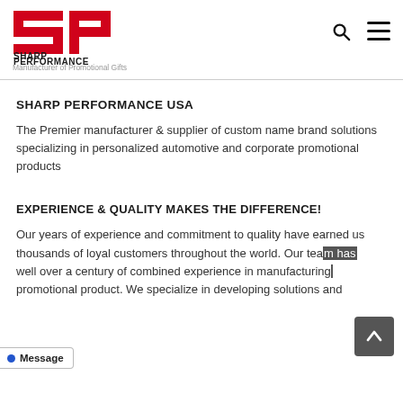Sharp Performance — Manufacturer of Promotional Gifts
SHARP PERFORMANCE USA
The Premier manufacturer & supplier of custom name brand solutions specializing in personalized automotive and corporate promotional products
EXPERIENCE & QUALITY MAKES THE DIFFERENCE!
Our years of experience and commitment to quality have earned us thousands of loyal customers throughout the world. Our team has well over a century of combined experience in manufacturing promotional product. We specialize in developing solutions and